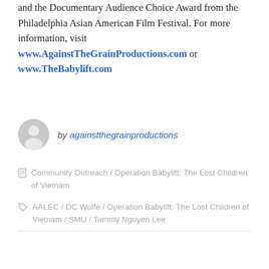and the Documentary Audience Choice Award from the Philadelphia Asian American Film Festival. For more information, visit www.AgainstTheGrainProductions.com or www.TheBabylift.com
[Figure (illustration): Generic user avatar icon — a grey circle with a stylized person silhouette]
by againstthegrainproductions
Community Outreach / Operation Babylift: The Lost Children of Vietnam
AALEC / DC Wolfe / Operation Babylift: The Lost Children of Vietnam / SMU / Tammy Nguyen Lee